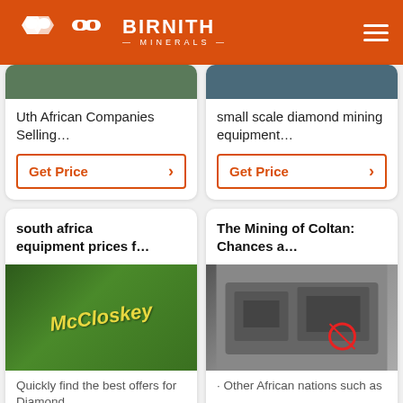BIRNITH MINERALS
Uth African Companies Selling…
Get Price
small scale diamond mining equipment…
Get Price
south africa equipment prices f…
[Figure (photo): Green McCloskey mining equipment machine in a warehouse]
Quickly find the best offers for Diamond
The Mining of Coltan: Chances a…
[Figure (photo): Grey industrial mining crusher machine in a factory, with a red circle highlight]
· Other African nations such as